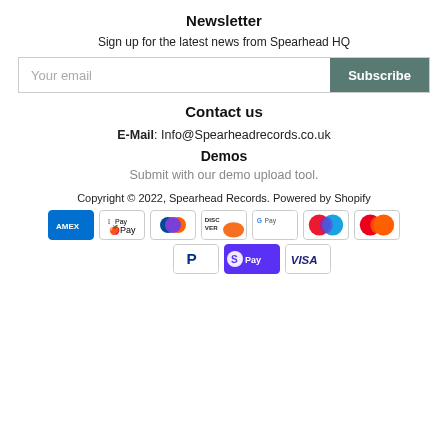Newsletter
Sign up for the latest news from Spearhead HQ
[Figure (other): Email input field with Subscribe button]
Contact us
E-Mail: Info@Spearheadrecords.co.uk
Demos
Submit with our demo upload tool.
Copyright © 2022, Spearhead Records. Powered by Shopify
[Figure (other): Payment method icons: Amex, Apple Pay, Diners Club, Discover, Google Pay, Maestro, Mastercard, PayPal, Shop Pay, Visa]